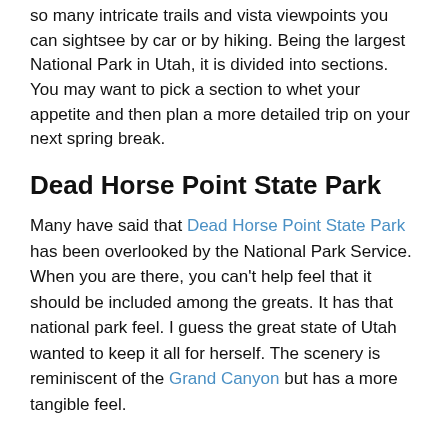so many intricate trails and vista viewpoints you can sightsee by car or by hiking. Being the largest National Park in Utah, it is divided into sections. You may want to pick a section to whet your appetite and then plan a more detailed trip on your next spring break.
Dead Horse Point State Park
Many have said that Dead Horse Point State Park has been overlooked by the National Park Service. When you are there, you can't help feel that it should be included among the greats. It has that national park feel. I guess the great state of Utah wanted to keep it all for herself. The scenery is reminiscent of the Grand Canyon but has a more tangible feel.